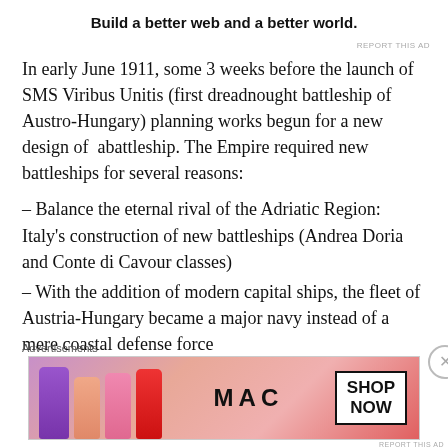Build a better web and a better world.
REPORT THIS AD
In early June 1911, some 3 weeks before the launch of SMS Viribus Unitis (first dreadnought battleship of Austro-Hungary) planning works begun for a new design of  abattleship. The Empire required new battleships for several reasons:
– Balance the eternal rival of the Adriatic Region: Italy's construction of new battleships (Andrea Doria and Conte di Cavour classes)
– With the addition of modern capital ships, the fleet of Austria-Hungary became a major navy instead of a mere coastal defense force
Advertisements
[Figure (photo): MAC Cosmetics advertisement banner showing lipsticks in purple, peach, pink and red colors with MAC logo and SHOP NOW button]